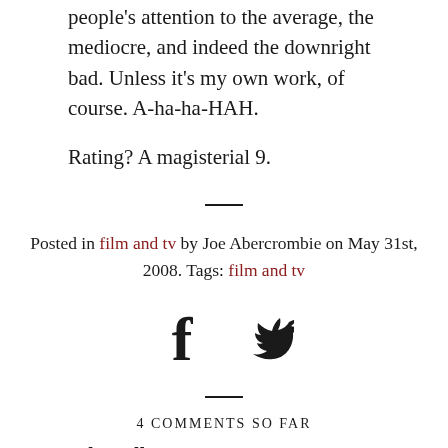people's attention to the average, the mediocre, and indeed the downright bad. Unless it's my own work, of course. A-ha-ha-HAH.
Rating? A magisterial 9.
Posted in film and tv by Joe Abercrombie on May 31st, 2008. Tags: film and tv
[Figure (illustration): Facebook and Twitter social share icons]
4 COMMENTS SO FAR
Ady Hall